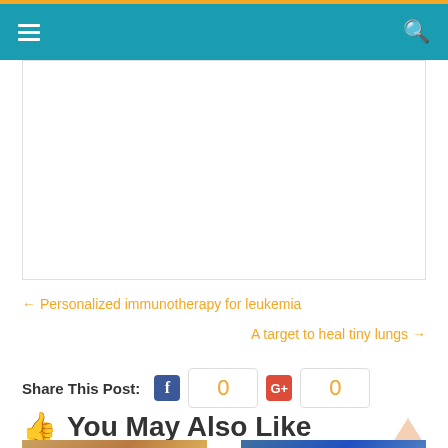Navigation bar with hamburger menu and search icon
[Figure (other): Advertisement or embedded content placeholder box]
← Personalized immunotherapy for leukemia
A target to heal tiny lungs →
Share This Post: 0 0
You May Also Like
[Figure (photo): Thumbnail image strip at bottom left]
[Figure (photo): Thumbnail image strip at bottom right]